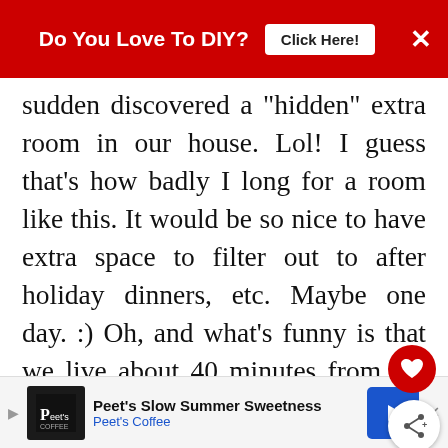Do You Love To DIY?  Click Here!  ×
sudden discovered a "hidden" extra room in our house. Lol! I guess that's how badly I long for a room like this. It would be so nice to have extra space to filter out to after holiday dinners, etc. Maybe one day. :) Oh, and what's funny is that we live about 40 minutes from the beach (Galveston) but I can't stand the beach. Ha! I know that's just because it's so hot here and the sand sticks to you, etc. I do however love California beaches. Go figure. ;)
[Figure (screenshot): WHAT'S NEXT arrow label with thumbnail for Fall Porch Tour]
Peet's Slow Summer Sweetness Peet's Coffee